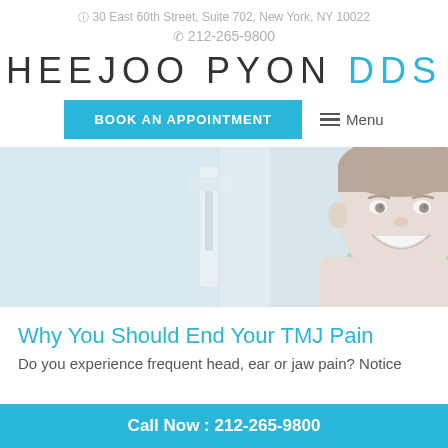📍 30 East 60th Street, Suite 702, New York, NY 10022
📞 212-265-9800
HEEJOO PYON DDS
BOOK AN APPOINTMENT   ☰ Menu
[Figure (photo): Smiling young man in a dental office chair, dental equipment visible in background]
Why You Should End Your TMJ Pain
Do you experience frequent head, ear or jaw pain? Notice
Call Now : 212-265-9800